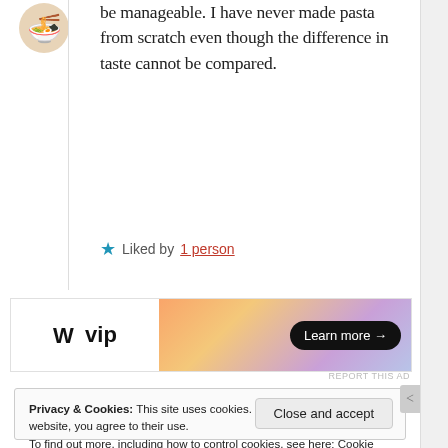be manageable. I have never made pasta from scratch even though the difference in taste cannot be compared.
Liked by 1 person
[Figure (other): WordPress VIP advertisement banner with gradient background and Learn more button]
REPORT THIS AD
Privacy & Cookies: This site uses cookies. By continuing to use this website, you agree to their use. To find out more, including how to control cookies, see here: Cookie Policy
Close and accept